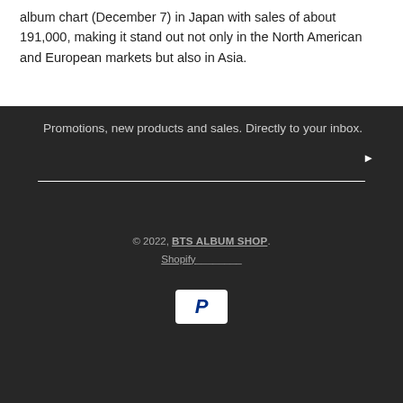album chart (December 7) in Japan with sales of about 191,000, making it stand out not only in the North American and European markets but also in Asia.
Promotions, new products and sales. Directly to your inbox.
© 2022, BTS ALBUM SHOP. Shopify
[Figure (logo): PayPal payment icon — white rounded rectangle with blue italic P logo]